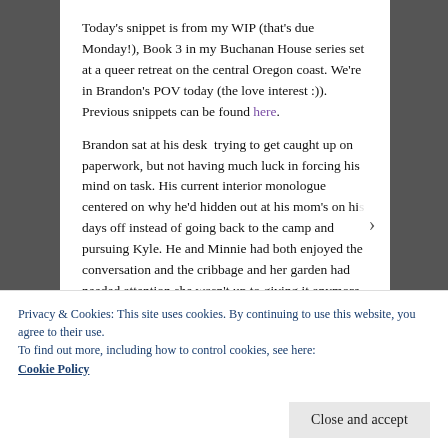Today's snippet is from my WIP (that's due Monday!), Book 3 in my Buchanan House series set at a queer retreat on the central Oregon coast. We're in Brandon's POV today (the love interest :)). Previous snippets can be found here.
Brandon sat at his desk  trying to get caught up on paperwork, but not having much luck in forcing his mind on task. His current interior monologue centered on why he'd hidden out at his mom's on his days off instead of going back to the camp and pursuing Kyle. He and Minnie had both enjoyed the conversation and the cribbage and her garden had needed attention she wasn't up to giving it anymore,
Privacy & Cookies: This site uses cookies. By continuing to use this website, you agree to their use.
To find out more, including how to control cookies, see here:
Cookie Policy
Close and accept